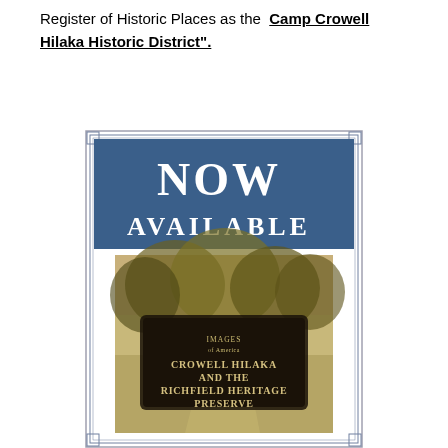Register of Historic Places as the Camp Crowell Hilaka Historic District".
[Figure (illustration): Book advertisement showing 'NOW AVAILABLE' in a decorative bordered frame with blue header, and a book cover for 'Images of America: Crowell Hilaka and the Richfield Heritage Preserve' featuring a sepia-toned forest/nature photograph.]